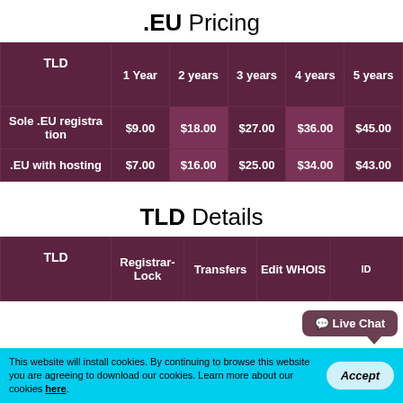.EU Pricing
| TLD | 1 Year | 2 years | 3 years | 4 years | 5 years |
| --- | --- | --- | --- | --- | --- |
| Sole .EU registration | $9.00 | $18.00 | $27.00 | $36.00 | $45.00 |
| .EU with hosting | $7.00 | $16.00 | $25.00 | $34.00 | $43.00 |
TLD Details
| TLD | Registrar-Lock | Transfers | Edit WHOIS | ID |
| --- | --- | --- | --- | --- |
This website will install cookies. By continuing to browse this website you are agreeing to download our cookies. Learn more about our cookies here.